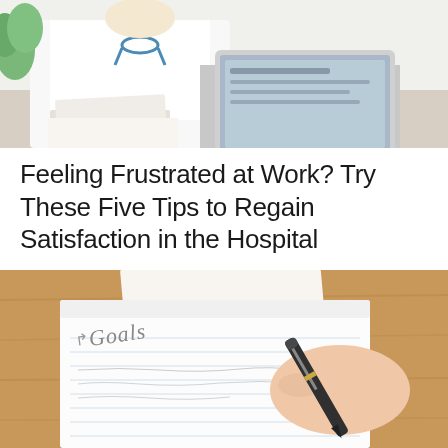[Figure (photo): A doctor in a white coat with stethoscope sitting at a desk with a laptop, working in a hospital/office setting]
Feeling Frustrated at Work? Try These Five Tips to Regain Satisfaction in the Hospital
[Figure (photo): A hand holding a pen writing the word 'Goals' on a notepad placed on a wooden desk, with lined paper visible]